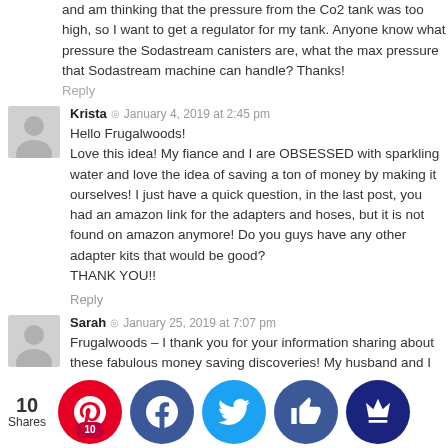and am thinking that the pressure from the CO2 tank was too high, so I want to get a regulator for my tank. Anyone know what pressure the Sodastream canisters are, what the max pressure that Sodastream machine can handle? Thanks!
Reply
Krista  ◎  January 4, 2019 at 2:45 pm
Hello Frugalwoods!
Love this idea! My fiance and I are OBSESSED with sparkling water and love the idea of saving a ton of money by making it ourselves! I just have a quick question, in the last post, you had an amazon link for the adapters and hoses, but it is not found on amazon anymore! Do you guys have any other adapter kits that would be good?
THANK YOU!!
Reply
Sarah  ◎  January 25, 2019 at 7:07 pm
Frugalwoods – I thank you for your information sharing about these fabulous money saving discoveries! My husband and I ... carbonate water (... call ... ralia, tho... love the hard seltzer) ... years has ... kick his ...